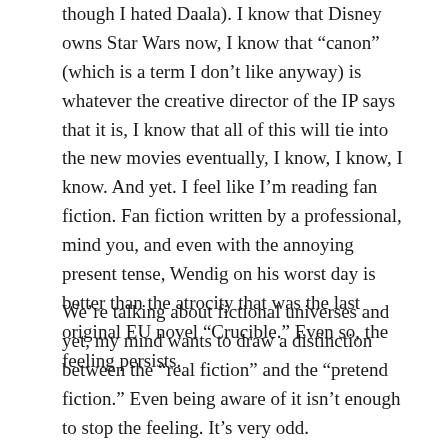though I hated Daala). I know that Disney owns Star Wars now, I know that “canon” (which is a term I don’t like anyway) is whatever the creative director of the IP says that it is, I know that all of this will tie into the new movies eventually, I know, I know, I know. And yet. I feel like I’m reading fan fiction. Fan fiction written by a professional, mind you, and even with the annoying present tense, Wendig on his worst day is better than the atrocity that was the last original EU novel “Crucible.” Even so, the feeling persists.
We’re talking about fictional universes and yet, my mind wants to draw a distinction between the “real fiction” and the “pretend fiction.” Even being aware of it isn’t enough to stop the feeling. It’s very odd.